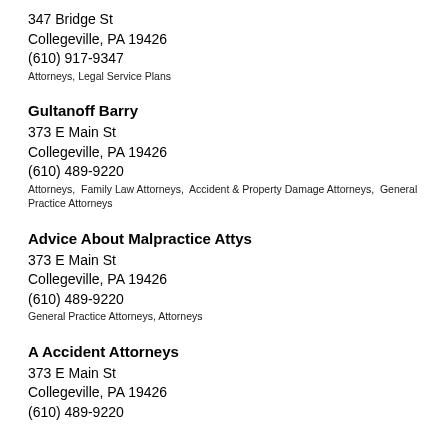347 Bridge St
Collegeville, PA 19426
(610) 917-9347
Attorneys, Legal Service Plans
Gultanoff Barry
373 E Main St
Collegeville, PA 19426
(610) 489-9220
Attorneys, Family Law Attorneys, Accident & Property Damage Attorneys, General Practice Attorneys
Advice About Malpractice Attys
373 E Main St
Collegeville, PA 19426
(610) 489-9220
General Practice Attorneys, Attorneys
A Accident Attorneys
373 E Main St
Collegeville, PA 19426
(610) 489-9220